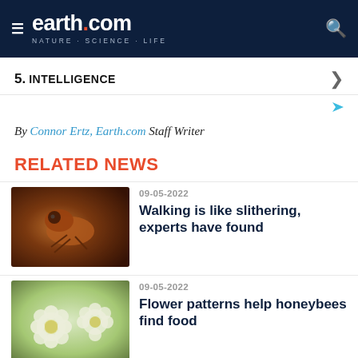earth.com NATURE · SCIENCE · LIFE
5. INTELLIGENCE
By Connor Ertz, Earth.com Staff Writer
RELATED NEWS
09-05-2022
Walking is like slithering, experts have found
[Figure (photo): Close-up photo of an insect (ant or similar) on a surface]
09-05-2022
Flower patterns help honeybees find food
[Figure (photo): Photo of white chrysanthemum flowers with green foliage]